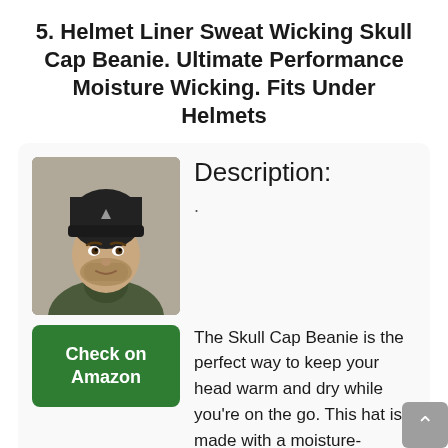5. Helmet Liner Sweat Wicking Skull Cap Beanie. Ultimate Performance Moisture Wicking. Fits Under Helmets
[Figure (photo): Photo of a man wearing a black skull cap / helmet liner beanie, shown from the shoulders up against a neutral background.]
Description:
.
Check on Amazon
The Skull Cap Beanie is the perfect way to keep your head warm and dry while you're on the go. This hat is made with a moisture-wicking material to keep you comfortable and dry, and it fits under helmets to